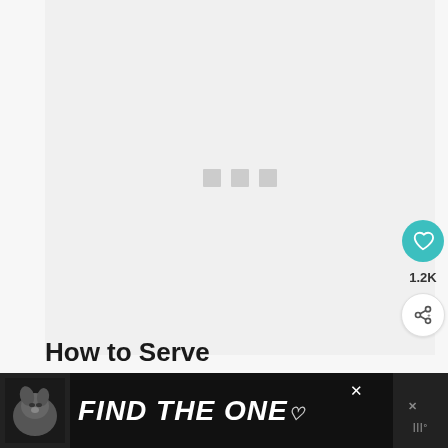[Figure (screenshot): A loading placeholder image area with three gray squares (loading dots) centered in a light gray rectangle. This appears to be a recipe or food blog page with a loading image area.]
1.2K
How to Serve
[Figure (infographic): Advertisement banner with dark background showing a dog image on the left and the text 'FIND THE ONE' in bold white italic letters with a heart symbol.]